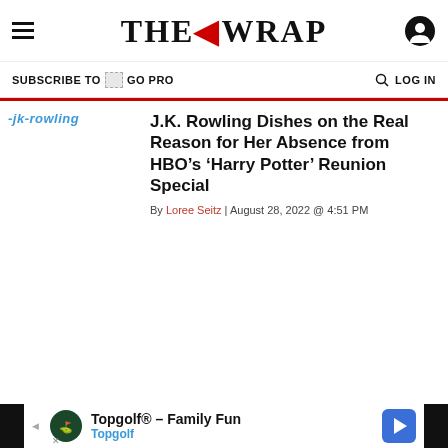THE WRAP
SUBSCRIBE TO GO PRO | LOG IN
J.K. Rowling Dishes on the Real Reason for Her Absence from HBO’s ‘Harry Potter’ Reunion Special
By Loree Seitz | August 28, 2022 @ 4:51 PM
TheWrap
About Us
Topgolf® – Family Fun Topgolf